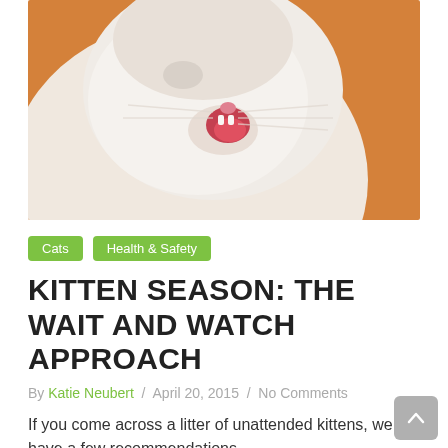[Figure (photo): Close-up photo of a white/cream cat with mouth open, orange background, cropped to show head and neck area]
Cats
Health & Safety
KITTEN SEASON: THE WAIT AND WATCH APPROACH
By Katie Neubert / April 20, 2015 / No Comments
If you come across a litter of unattended kittens, we have a few recommendations.
Read More